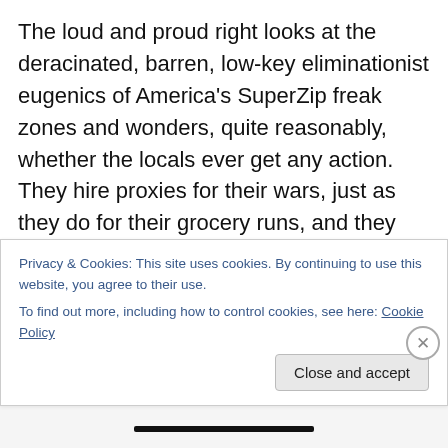The loud and proud right looks at the deracinated, barren, low-key eliminationist eugenics of America's SuperZip freak zones and wonders, quite reasonably, whether the locals ever get any action. They hire proxies for their wars, just as they do for their grocery runs, and they sure don't act like they get laid. They practice and insist on propagating a quasicelibate form of toxic eliminationist eugenics. Since that's what the libs are already doing, what the hell is wrong with a socially exuberant, sexually active, fertile expression of fascism? That's toxic, too. It veers into martial genocide, babysnatching, and rape. It
Privacy & Cookies: This site uses cookies. By continuing to use this website, you agree to their use.
To find out more, including how to control cookies, see here: Cookie Policy